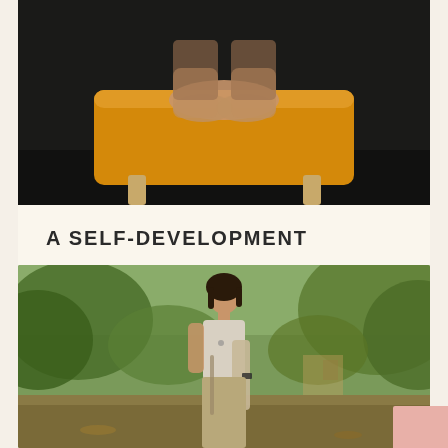[Figure (photo): Photo of hands resting on a yellow/mustard ottoman chair against a dark background]
A SELF-DEVELOPMENT
FINDYOURSELF, PSYCOLOGICALSKILLS, SELFDEVELOPMENT
[Figure (photo): Photo of a woman standing outdoors in a park, wearing a white top and beige jacket, with trees in the background]